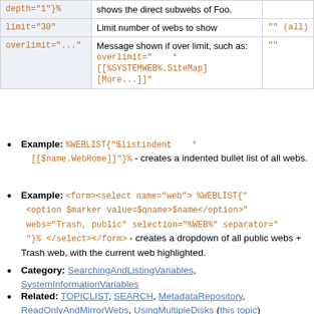| Parameter | Description | Default |
| --- | --- | --- |
| depth="1"% | shows the direct subwebs of Foo. |  |
| limit="30" | Limit number of webs to show | "" (all) |
| overlimit="..." | Message shown if over limit, such as: overlimit="   * [[%SYSTEMWEB%.SiteMap][More...]]" | "" |
Example: %WEBLIST{"$listindent   * [[$name.WebHome]]"}% - creates a indented bullet list of all webs.
Example: <form><select name="web"> %WEBLIST{" <option $marker value=$qname>$name</option>" webs="Trash, public" selection="%WEB%" separator=""}% </select></form> - creates a dropdown of all public webs + Trash web, with the current web highlighted.
Category: SearchingAndListingVariables, SystemInformationVariables
Related: TOPICLIST, SEARCH, MetadataRepository, ReadOnlyAndMirrorWebs, UsingMultipleDisks (this topic)